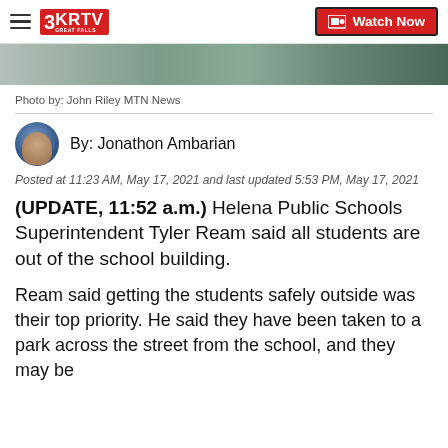3KRTV Great Falls — Watch Now
[Figure (photo): Partial outdoor photo showing trees and sky, cropped at top of article]
Photo by: John Riley MTN News
By: Jonathon Ambarian
Posted at 11:23 AM, May 17, 2021 and last updated 5:53 PM, May 17, 2021
(UPDATE, 11:52 a.m.) Helena Public Schools Superintendent Tyler Ream said all students are out of the school building.
Ream said getting the students safely outside was their top priority. He said they have been taken to a park across the street from the school, and they may be